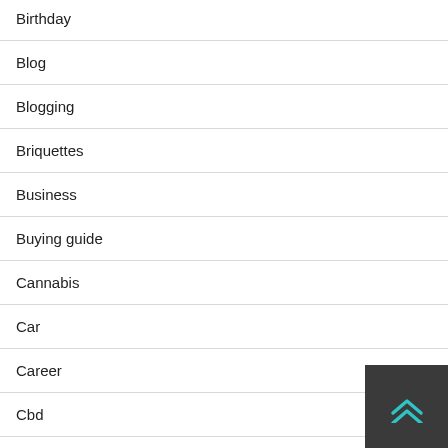Birthday
Blog
Blogging
Briquettes
Business
Buying guide
Cannabis
Car
Career
Cbd
CBD Oils